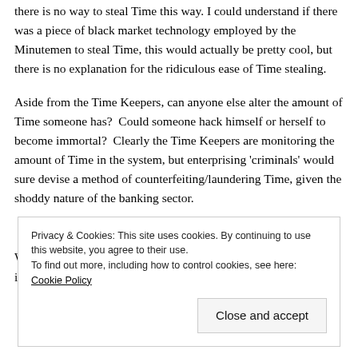there is no way to steal Time this way. I could understand if there was a piece of black market technology employed by the Minutemen to steal Time, this would actually be pretty cool, but there is no explanation for the ridiculous ease of Time stealing.
Aside from the Time Keepers, can anyone else alter the amount of Time someone has?  Could someone hack himself or herself to become immortal?  Clearly the Time Keepers are monitoring the amount of Time in the system, but enterprising 'criminals' would sure devise a method of counterfeiting/laundering Time, given the shoddy nature of the banking sector.
Privacy & Cookies: This site uses cookies. By continuing to use this website, you agree to their use.
To find out more, including how to control cookies, see here: Cookie Policy